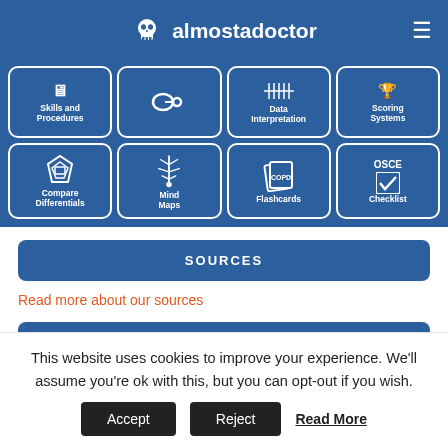almostadoctor
[Figure (screenshot): Navigation grid with 8 icon buttons: Skills and Procedures, (Diagnosis), Data Interpretation, Scoring Systems, Compare Differentials, Mind Maps, Flashcards, OSCE Checklist]
SOURCES
Read more about our sources
PAGE TOOLS
Print PDF
This website uses cookies to improve your experience. We'll assume you're ok with this, but you can opt-out if you wish.
Accept  Reject  Read More